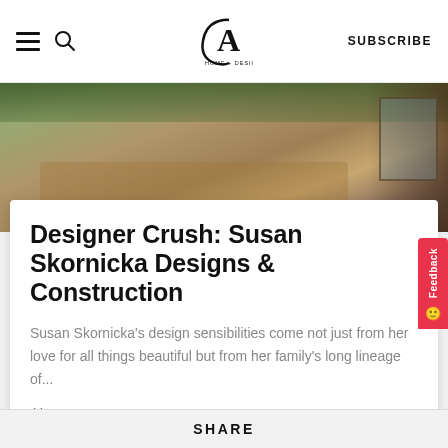CA Home + Design — navigation bar with hamburger menu, search, logo, and SUBSCRIBE button
[Figure (photo): Outdoor dining table with wicker chairs set for a meal, wooden pergola structure, lush greenery in background]
Designer Crush: Susan Skornicka Designs & Construction
Susan Skornicka's design sensibilities come not just from her love for all things beautiful but from her family's long lineage of...
August 10, 2022
SHARE